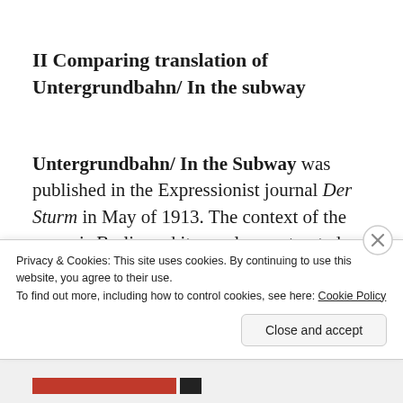II Comparing translation of Untergrundbahn/ In the subway
Untergrundbahn/ In the Subway was published in the Expressionist journal Der Sturm in May of 1913. The context of the poem is Berlin and its newly constructed underground rail system, where trains started to run in 1902 (indeed, Benn's suburb, Wilmersdorf, boasted
Privacy & Cookies: This site uses cookies. By continuing to use this website, you agree to their use.
To find out more, including how to control cookies, see here: Cookie Policy
Close and accept